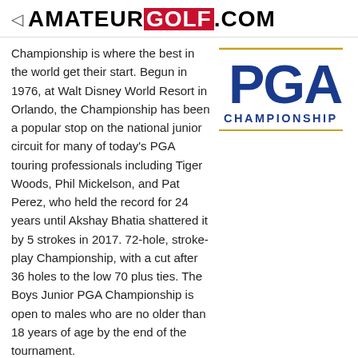AMATEURGOLF.COM
Championship is where the best in the world get their start. Begun in 1976, at Walt Disney World Resort in Orlando, the Championship has been a popular stop on the national junior circuit for many of today's PGA touring professionals including Tiger Woods, Phil Mickelson, and Pat Perez, who held the record for 24 years until Akshay Bhatia shattered it by 5 strokes in 2017. 72-hole, stroke-play Championship, with a cut after 36 holes to the low 70 plus ties. The Boys Junior PGA Championship is open to males who are no older than 18 years of age by the end of the tournament.
[Figure (logo): PGA Championship logo with blue text on white background with gold underline]
View Complete Tournament Information
MOST POPULAR ARTICLES